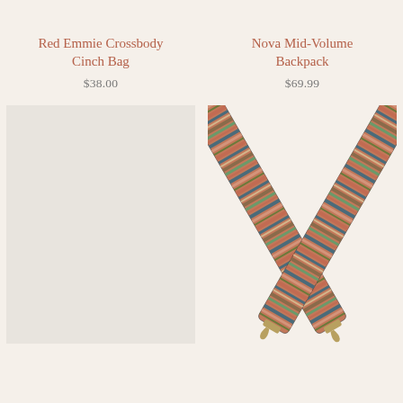Red Emmie Crossbody Cinch Bag
$38.00
[Figure (photo): Light gray/beige product placeholder image for Red Emmie Crossbody Cinch Bag]
Nova Mid-Volume Backpack
$69.99
[Figure (photo): Two multicolored striped backpack straps crossed in an X shape with metal clips at the ends, showing earthy tones of terracotta, blue, olive green, and beige stripes]